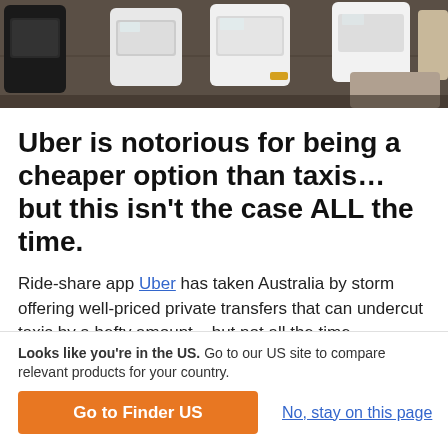[Figure (photo): Aerial view of cars in a parking lot or traffic, viewed from above. Multiple vehicles visible including dark and light colored cars.]
Uber is notorious for being a cheaper option than taxis… but this isn't the case ALL the time.
Ride-share app Uber has taken Australia by storm offering well-priced private transfers that can undercut taxis by a hefty amount – but not all the time.
Due to Uber's surge pricing, which sees fares
Looks like you're in the US. Go to our US site to compare relevant products for your country.
Go to Finder US
No, stay on this page